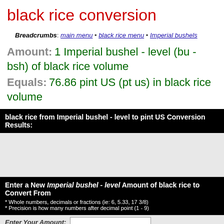black rice conversion
Breadcrumbs: main menu • black rice menu • Imperial bushels
Amount: 1 Imperial bushel - level (bu - bsh) of black rice volume
Equals: 76.86 pint US (pt us) in black rice volume
black rice from Imperial bushel - level to pint US Conversion Results:
[Figure (other): Gray advertisement/content placeholder area]
Enter a New Imperial bushel - level Amount of black rice to Convert From
* Whole numbers, decimals or fractions (ie: 6, 5.33, 17 3/8)
* Precision is how many numbers after decimal point (1 - 9)
Enter Your Amount: [input field]